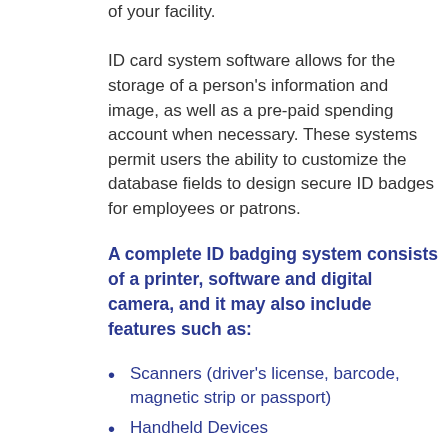of your facility.

ID card system software allows for the storage of a person's information and image, as well as a pre-paid spending account when necessary. These systems permit users the ability to customize the database fields to design secure ID badges for employees or patrons.
A complete ID badging system consists of a printer, software and digital camera, and it may also include features such as:
Scanners (driver's license, barcode, magnetic strip or passport)
Handheld Devices
Custom Device (Equipment...